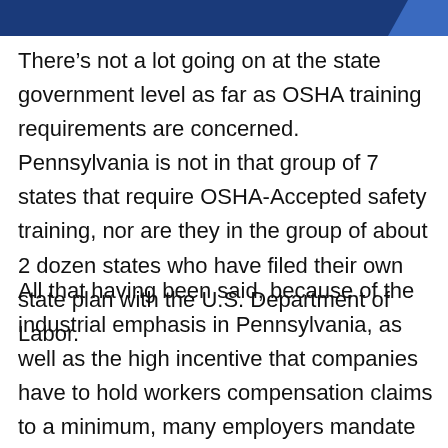[Figure (other): Dark blue header banner with lighter blue accent shape on right side]
There’s not a lot going on at the state government level as far as OSHA training requirements are concerned.  Pennsylvania is not in that group of 7 states that require OSHA-Accepted safety training, nor are they in the group of about 2 dozen states who have filed their own state plan with the U.S. Department of Labor.
All that having been said, because of the industrial emphasis in Pennsylvania, as well as the high incentive that companies have to hold workers compensation claims to a minimum, many employers mandate at least the OSHA 10-hour training program.  If you’re looking for a job right now, an OSHA 10 program, which you can take